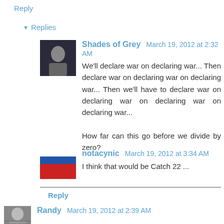Reply
Replies
Shades of Grey   March 19, 2012 at 2:32 AM
We'll declare war on declaring war... Then declare war on declaring war on declaring war... Then we'll have to declare war on declaring war on declaring war on declaring war...

How far can this go before we divide by zero?
notacynic   March 19, 2012 at 3:34 AM
I think that would be Catch 22 ...
Reply
Randy   March 19, 2012 at 2:39 AM